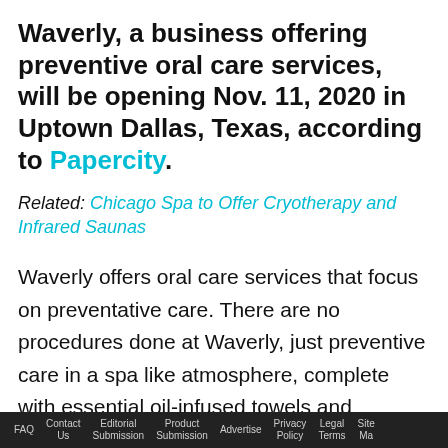Waverly, a business offering preventive oral care services, will be opening Nov. 11, 2020 in Uptown Dallas, Texas, according to Papercity.
Related: Chicago Spa to Offer Cryotherapy and Infrared Saunas
Waverly offers oral care services that focus on preventative care. There are no procedures done at Waverly, just preventive care in a spa like atmosphere, complete with essential oil-infused towels and complimentary chair-side hand massages. The interior is designed by Red Antler and is filled with West Elm furniture...
FAQ   Contact Us   Editorial Submission   Product Submission   Advertise   Privacy Policy   Legal Terms   Site Map